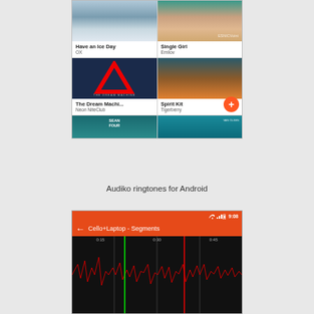[Figure (screenshot): Audiko ringtones Android app showing a 2-column grid of music albums: 'Have an Ice Day' by OX, 'Single Girl' by Emilov, 'The Dream Machi...' by Neon NiteClub, 'Spirit Kit' by Tigerberry, and two more partially visible albums at bottom. A floating orange action button (+) is visible.]
Audiko ringtones for Android
[Figure (screenshot): Audiko Android app screen showing audio waveform editor for 'Cello+Laptop - Segments' with time markers at 0:15, 0:30, 0:45 on an orange toolbar. Status bar shows 9:08 time.]